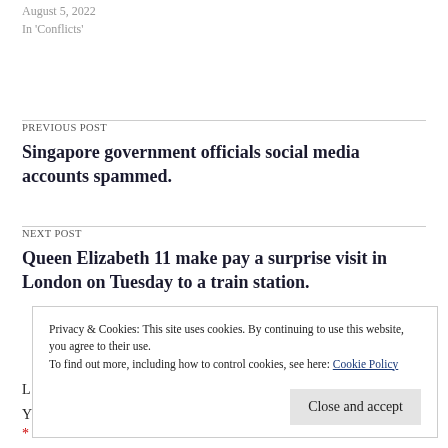August 5, 2022
In 'Conflicts'
PREVIOUS POST
Singapore government officials social media accounts spammed.
NEXT POST
Queen Elizabeth 11 make pay a surprise visit in London on Tuesday to a train station.
Privacy & Cookies: This site uses cookies. By continuing to use this website, you agree to their use.
To find out more, including how to control cookies, see here: Cookie Policy
Close and accept
*